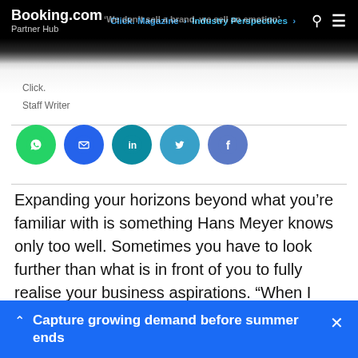Booking.com Partner Hub | Click. Magazine > Industry Perspectives >
Click.
Staff Writer
[Figure (infographic): Row of five social share buttons: WhatsApp (green), Email (blue), LinkedIn (teal), Twitter (light blue), Facebook (purple-blue)]
Expanding your horizons beyond what you're familiar with is something Hans Meyer knows only too well. Sometimes you have to look further than what is in front of you to fully realise your business aspirations. "When I started you had the boutique hotels, which were luxurious - you really had to pay a big price. While at the same time in the fashion industry, brands like H&M and Zara were making fashion
Capture growing demand before summer ends